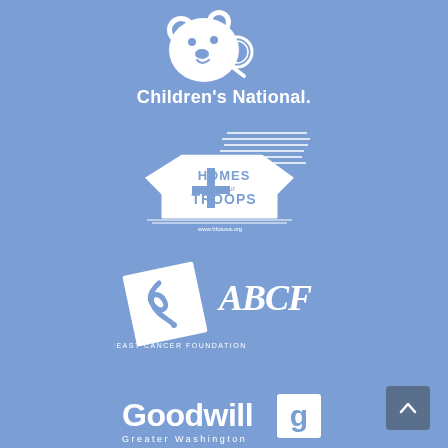[Figure (logo): Children's National hospital logo — white bear mascot with magnifying glass above text 'Children's National.']
[Figure (logo): Homes for Our Troops logo — white illustration of a house with American flag and text 'HOMES for our TROOPS' and website www.hfotusa.org]
[Figure (logo): American Breast Cancer Foundation (ABCF) logo — white tilted square with ribbon symbol and script/serif text 'ABCF AMERICAN BREAST CANCER FOUNDATION']
[Figure (logo): Goodwill Greater Washington logo — white bold text 'Goodwill' with Goodwill 'g' symbol and 'Greater Washington' below]